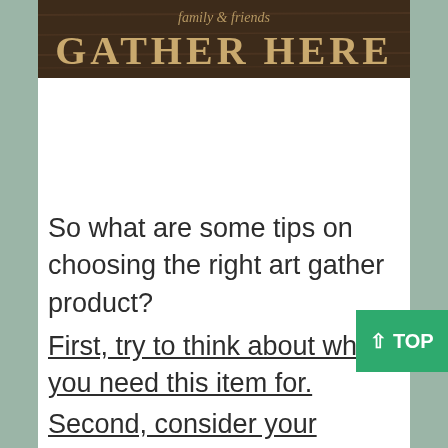[Figure (photo): A wooden sign with text 'family & friends GATHER HERE' in gold/cream lettering on a dark brown wood background]
So what are some tips on choosing the right art gather product?
First, try to think about what you need this item for.
Second, consider your lifestyle and where you'll use this product most